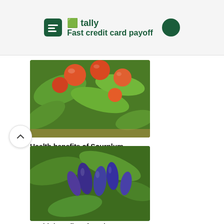[Figure (screenshot): Tally app advertisement banner with logo and 'Fast credit card payoff' tagline]
[Figure (photo): Red/orange round fruits (sourplum) hanging on a tree with green leaves]
Health benefits of Sourplum
[Figure (photo): Blue-purple elongated berries (haskap/honeyberry) hanging on a bush with green leaves]
Health benefits of Hasker